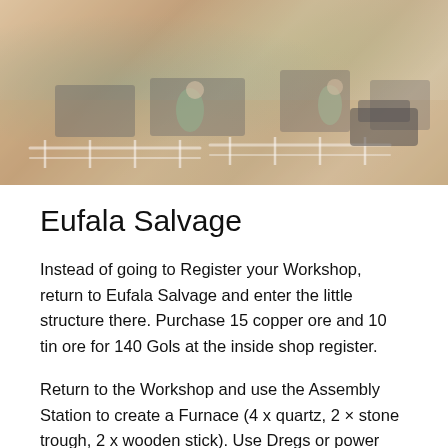[Figure (photo): Aerial/overhead view of a game scene showing characters and structures at Eufala Salvage, with sandy/orange terrain and green-tinted elements, faded and muted colors.]
Eufala Salvage
Instead of going to Register your Workshop, return to Eufala Salvage and enter the little structure there. Purchase 15 copper ore and 10 tin ore for 140 Gols at the inside shop register.
Return to the Workshop and use the Assembly Station to create a Furnace (4 x quartz, 2 × stone trough, 2 x wooden stick). Use Dregs or power stones as fuel to manufacture 5 x bronze bars.